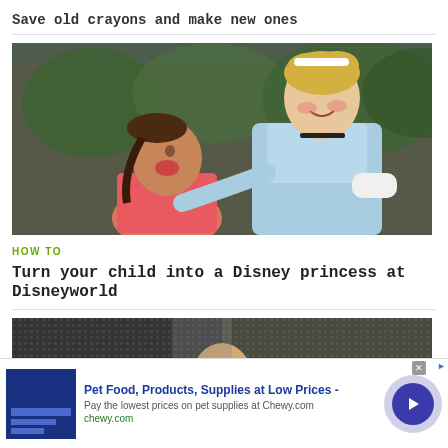Save old crayons and make new ones
[Figure (photo): A young girl in a pink shirt being hugged by a woman dressed as Cinderella in a light blue dress and white gloves, in front of greenery backdrop.]
HOW TO
Turn your child into a Disney princess at Disneyworld
[Figure (photo): Partial view of a second video thumbnail showing a person, partially obscured by an advertisement overlay.]
Pet Food, Products, Supplies at Low Prices - Pay the lowest prices on pet supplies at Chewy.com chewy.com